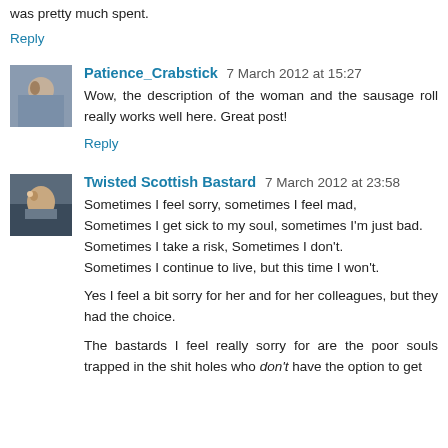was pretty much spent.
Reply
Patience_Crabstick 7 March 2012 at 15:27
Wow, the description of the woman and the sausage roll really works well here. Great post!
Reply
Twisted Scottish Bastard 7 March 2012 at 23:58
Sometimes I feel sorry, sometimes I feel mad, Sometimes I get sick to my soul, sometimes I'm just bad. Sometimes I take a risk, Sometimes I don't. Sometimes I continue to live, but this time I won't.
Yes I feel a bit sorry for her and for her colleagues, but they had the choice.
The bastards I feel really sorry for are the poor souls trapped in the shit holes who don't have the option to get